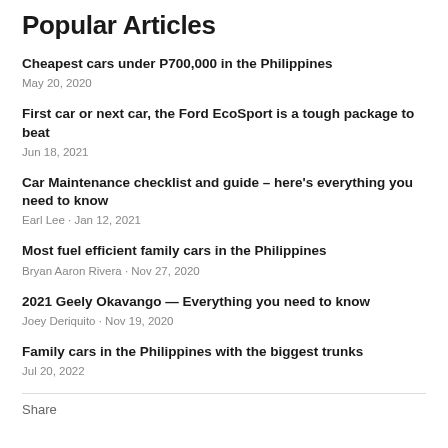Popular Articles
Cheapest cars under P700,000 in the Philippines
May 20, 2020
First car or next car, the Ford EcoSport is a tough package to beat
Jun 18, 2021
Car Maintenance checklist and guide – here's everything you need to know
Earl Lee · Jan 12, 2021
Most fuel efficient family cars in the Philippines
Bryan Aaron Rivera · Nov 27, 2020
2021 Geely Okavango — Everything you need to know
Joey Deriquito · Nov 19, 2020
Family cars in the Philippines with the biggest trunks
Jul 20, 2022
Share